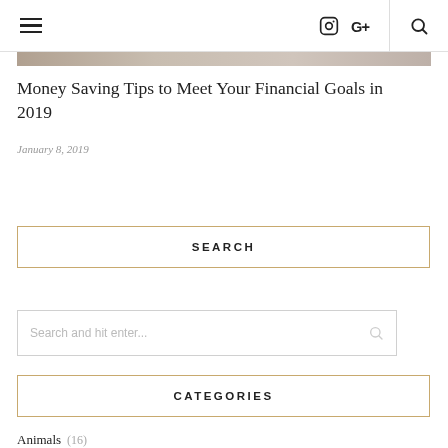Navigation header with hamburger menu, Instagram icon, Google+ icon, and search icon
[Figure (photo): Partially visible top image strip from an article thumbnail]
Money Saving Tips to Meet Your Financial Goals in 2019
January 8, 2019
SEARCH
Search and hit enter...
CATEGORIES
Animals (16)